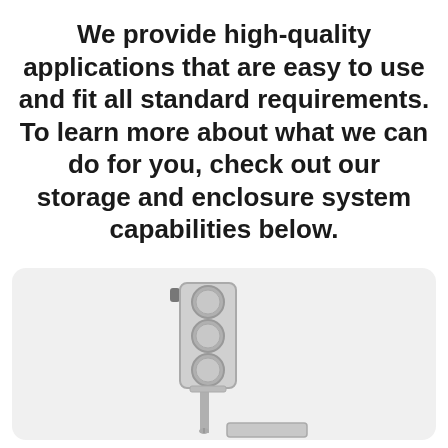We provide high-quality applications that are easy to use and fit all standard requirements. To learn more about what we can do for you, check out our storage and enclosure system capabilities below.
[Figure (illustration): A grayscale illustration of a traffic signal (traffic light) mounted on a pole with a small bracket arm, showing three circular signal lights, with a rectangular base/sign below the pole. Set on a light gray rounded-rectangle background.]